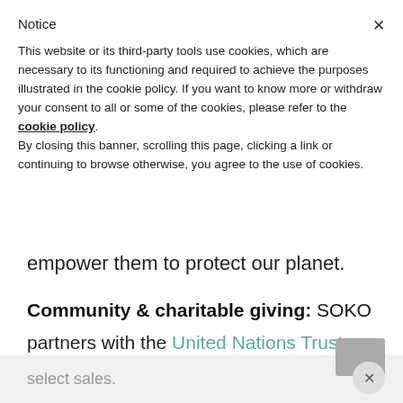Notice
This website or its third-party tools use cookies, which are necessary to its functioning and required to achieve the purposes illustrated in the cookie policy. If you want to know more or withdraw your consent to all or some of the cookies, please refer to the cookie policy.
By closing this banner, scrolling this page, clicking a link or continuing to browse otherwise, you agree to the use of cookies.
empower them to protect our planet.
Community & charitable giving: SOKO partners with the United Nations Trust Fund to end violence against women with a portion of
select sales.